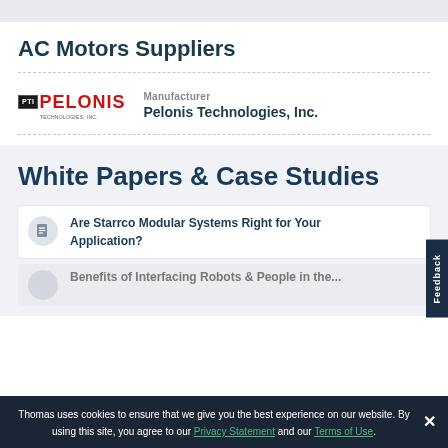AC Motors Suppliers
Manufacturer
Pelonis Technologies, Inc.
White Papers & Case Studies
Are Starrco Modular Systems Right for Your Application?
Benefits of Interfacing Robots & People in the...
Thomas uses cookies to ensure that we give you the best experience on our website. By using this site, you agree to our Privacy Statement and our Terms of Use.